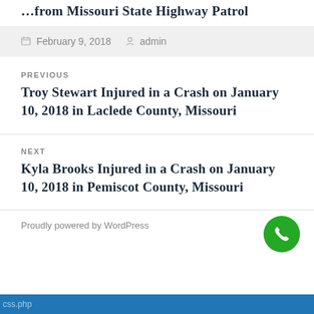…from Missouri State Highway Patrol
February 9, 2018 · admin
PREVIOUS
Troy Stewart Injured in a Crash on January 10, 2018 in Laclede County, Missouri
NEXT
Kyla Brooks Injured in a Crash on January 10, 2018 in Pemiscot County, Missouri
Proudly powered by WordPress
css.php